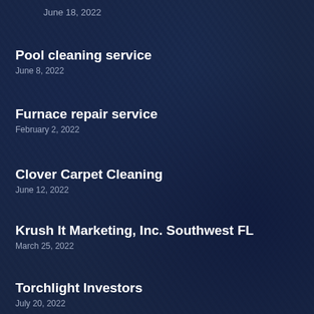June 18, 2022
Pool cleaning service
June 8, 2022
Furnace repair service
February 2, 2022
Clover Carpet Cleaning
June 12, 2022
Krush It Marketing, Inc. Southwest FL
March 25, 2022
Torchlight Investors
July 20, 2022